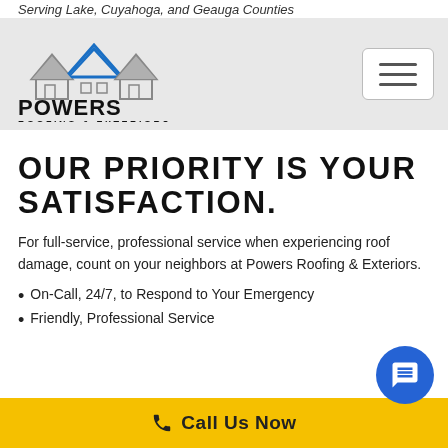Serving Lake, Cuyahoga, and Geauga Counties
[Figure (logo): Powers Roofing & Exteriors logo with house/roof silhouette in blue and gray above bold black text]
OUR PRIORITY IS YOUR SATISFACTION.
For full-service, professional service when experiencing roof damage, count on your neighbors at Powers Roofing & Exteriors.
On-Call, 24/7, to Respond to Your Emergency
Friendly, Professional Service
Call Us Now